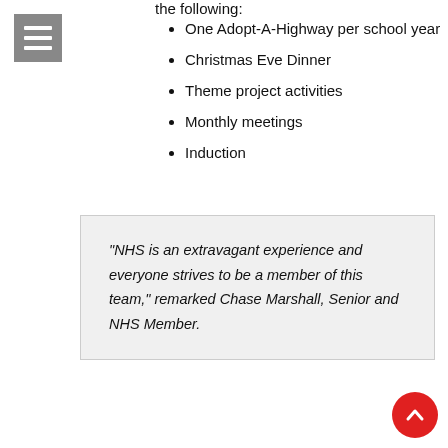the following:
One Adopt-A-Highway per school year
Christmas Eve Dinner
Theme project activities
Monthly meetings
Induction
“NHS is an extravagant experience and everyone strives to be a member of this team,” remarked Chase Marshall, Senior and NHS Member.